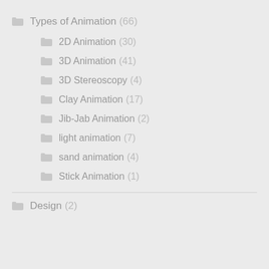Types of Animation (66)
2D Animation (30)
3D Animation (41)
3D Stereoscopy (4)
Clay Animation (17)
Jib-Jab Animation (2)
light animation (7)
sand animation (4)
Stick Animation (1)
Design (2)